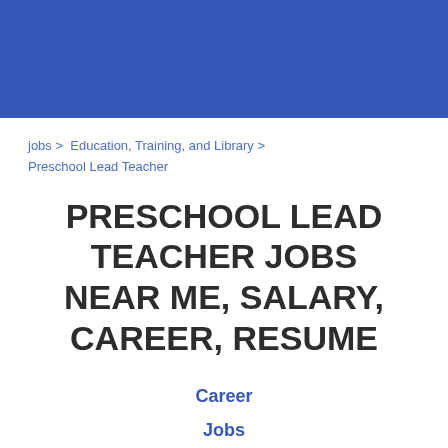jobs > Education, Training, and Library > Preschool Lead Teacher
PRESCHOOL LEAD TEACHER JOBS NEAR ME, SALARY, CAREER, RESUME
Career
Jobs
Salary
Remote
Resume